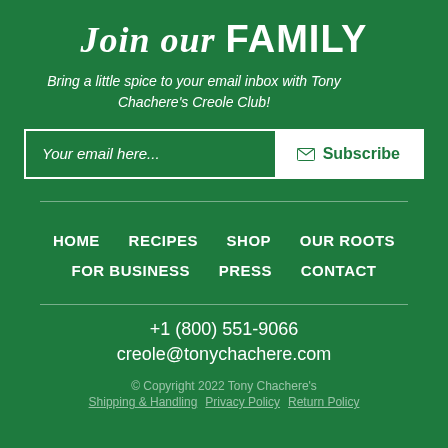Join our FAMILY
Bring a little spice to your email inbox with Tony Chachere's Creole Club!
Your email here... [Subscribe button]
HOME   RECIPES   SHOP   OUR ROOTS   FOR BUSINESS   PRESS   CONTACT
+1 (800) 551-9066
creole@tonychachere.com
© Copyright 2022 Tony Chachere's   Shipping & Handling   Privacy Policy   Return Policy